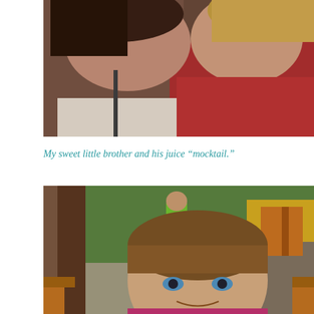[Figure (photo): Close-up photo of two women, one in a floral/white top and one in a red top, heads close together, selfie-style shot]
My sweet little brother and his juice “mocktail.”
[Figure (photo): Outdoor photo at a tropical restaurant/resort setting. In the background a child in a green shirt and blue shorts is holding something up. In the foreground a young boy with brown hair and blue eyes is smiling at the camera, wearing a floral lei/shirt. Wooden chairs and tropical plants visible.]